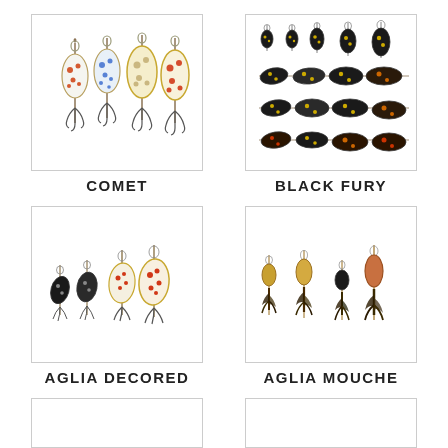[Figure (photo): COMET fishing lure spinners, four lures with spotted oval blades in white/blue/gold colors with treble hooks]
COMET
[Figure (photo): BLACK FURY fishing lure spinners, arranged in rows showing multiple sizes with black blades and yellow spots]
BLACK FURY
[Figure (photo): AGLIA DECORED fishing lure spinners, several lures with decorative spotted blades in red and gold colors]
AGLIA DECORED
[Figure (photo): AGLIA MOUCHE fishing lure spinners, several lures with feathered treble hooks in gold, black, and copper colors]
AGLIA MOUCHE